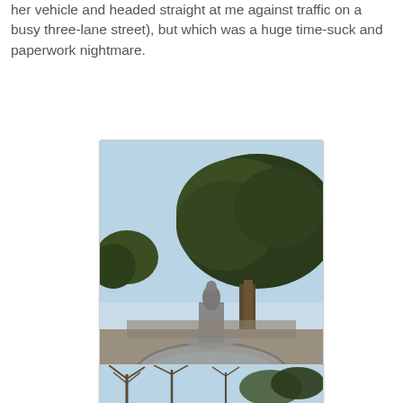her vehicle and headed straight at me against traffic on a busy three-lane street), but which was a huge time-suck and paperwork nightmare.
[Figure (photo): Outdoor photo of a decorative stone fountain with a statue figure on top, surrounded by a wide circular basin. Behind the fountain is a large oak tree with spreading branches against a clear blue sky. In the foreground are curved iron fence rails and a dark bird or animal figure. The setting appears to be a public park.]
[Figure (photo): Partial view of another outdoor park photo showing bare trees against a blue sky, cropped at the bottom of the page.]